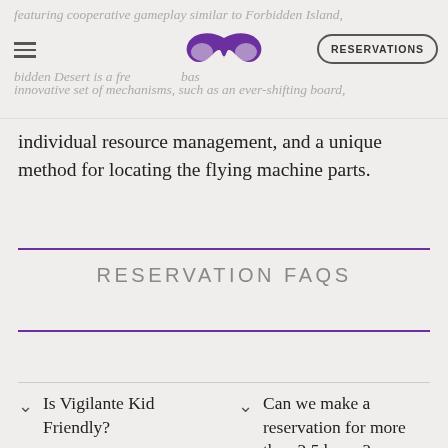featuring cooperative gameplay similar to Forbidden Island, bidden Desert is a free base ba innovative set of mechanisms, such as an ever-shifting board,
[Figure (logo): Purple masquerade mask logo centered in navigation bar]
RESERVATIONS
individual resource management, and a unique method for locating the flying machine parts.
RESERVATION FAQS
Is Vigilante Kid Friendly?
Can we make a reservation for more than 2.5 hours?